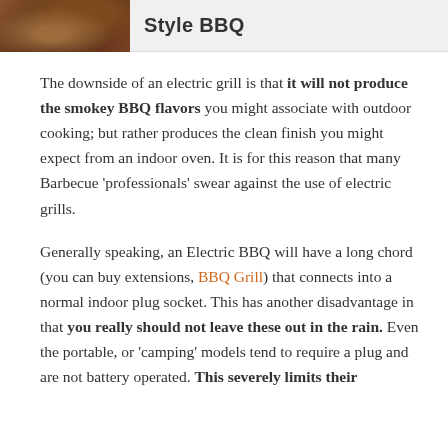Style BBQ
The downside of an electric grill is that it will not produce the smokey BBQ flavors you might associate with outdoor cooking; but rather produces the clean finish you might expect from an indoor oven. It is for this reason that many Barbecue ‘professionals’ swear against the use of electric grills.
Generally speaking, an Electric BBQ will have a long chord (you can buy extensions, BBQ Grill) that connects into a normal indoor plug socket. This has another disadvantage in that you really should not leave these out in the rain. Even the portable, or ‘camping’ models tend to require a plug and are not battery operated. This severely limits their usefulness when out in nature and we would